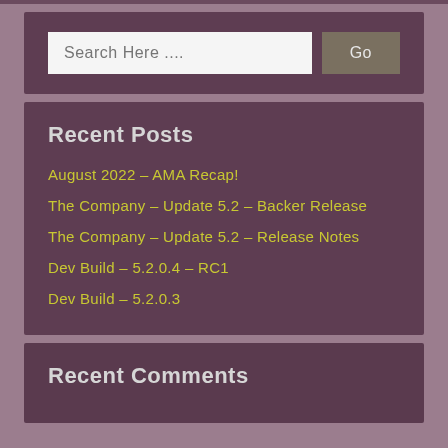[Figure (screenshot): Search bar with text input 'Search Here ....' and a 'Go' button]
Recent Posts
August 2022 – AMA Recap!
The Company – Update 5.2 – Backer Release
The Company – Update 5.2 – Release Notes
Dev Build – 5.2.0.4 – RC1
Dev Build – 5.2.0.3
Recent Comments